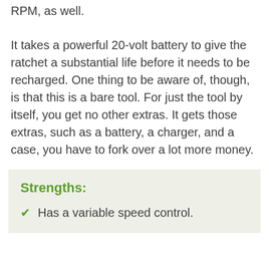RPM, as well.
It takes a powerful 20-volt battery to give the ratchet a substantial life before it needs to be recharged. One thing to be aware of, though, is that this is a bare tool. For just the tool by itself, you get no other extras. It gets those extras, such as a battery, a charger, and a case, you have to fork over a lot more money.
Strengths:
Has a variable speed control.